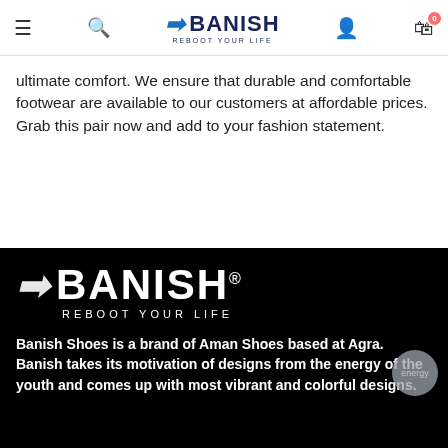BANISH REBOOT YOUR LIFE — navigation bar with hamburger menu, search, user icon, cart (0)
ultimate comfort. We ensure that durable and comfortable footwear are available to our customers at affordable prices. Grab this pair now and add to your fashion statement.
[Figure (logo): BANISH logo with slash icon and tagline REBOOT YOUR LIFE on black background]
Banish Shoes is a brand of Aman Shoes based at Agra. Banish takes its motivation of designs from the energy of the youth and comes up with most vibrant and colorful designs.